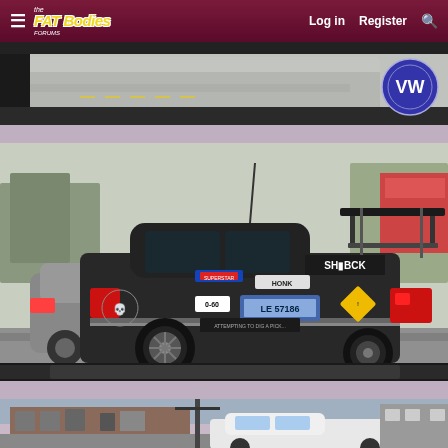FatBodies Forum — Log in | Register | Search
[Figure (photo): Partial top photo of a vehicle scene, cropped — grey road visible from inside a car, dark vehicle element and partial VW badge in upper right]
[Figure (photo): Modified dark grey Chevrolet Sonic/Aveo with large rear spoiler/wing, numerous stickers including HONK, 0-60, SHIBCK text, Illinois license plate 57186, racing graphics, custom wheels, photographed from behind while stopped in traffic]
[Figure (photo): Bottom partial photo showing urban street scene with brick buildings and what appears to be a white SUV/truck]